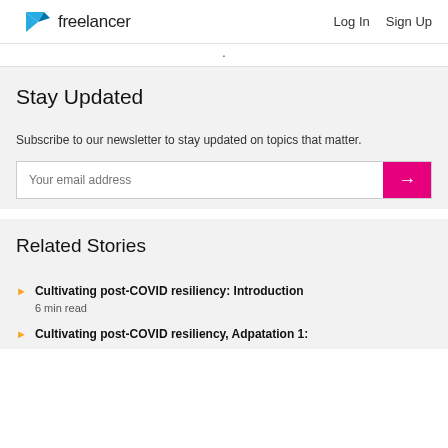freelancer  Log In  Sign Up
Stay Updated
Subscribe to our newsletter to stay updated on topics that matter.
Your email address
Related Stories
Cultivating post-COVID resiliency: Introduction
6 min read
Cultivating post-COVID resiliency, Adpatation 1: